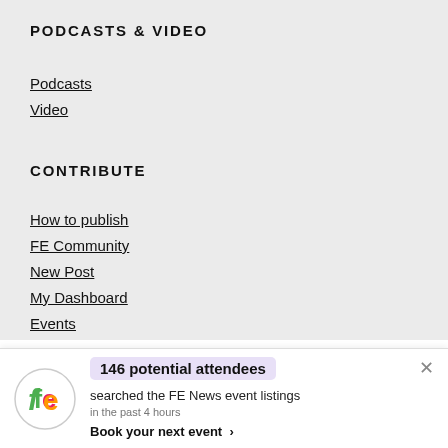PODCASTS & VIDEO
Podcasts
Video
CONTRIBUTE
How to publish
FE Community
New Post
My Dashboard
Events
We use cookies on our website to give you the most relevant experience by remembering your preferences and repeat visits. By clicking “Accept”, you consent to
[Figure (infographic): FE News notification bar showing logo and event stats: 146 potential attendees searched the FE News event listings in the past 4 hours. Book your next event link.]